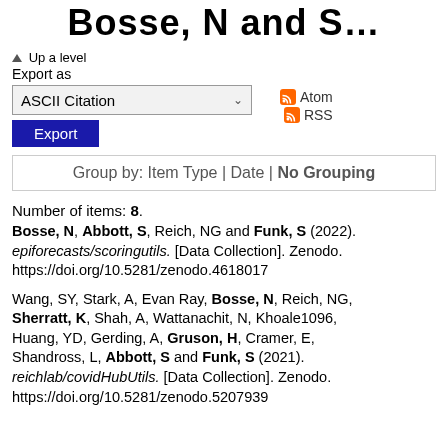Bosse, N and S
▲Up a level
Export as
ASCII Citation
Export
Atom
RSS
Group by: Item Type | Date | No Grouping
Number of items: 8.
Bosse, N, Abbott, S, Reich, NG and Funk, S (2022). epiforecasts/scoringutils. [Data Collection]. Zenodo. https://doi.org/10.5281/zenodo.4618017
Wang, SY, Stark, A, Evan Ray, Bosse, N, Reich, NG, Sherratt, K, Shah, A, Wattanachit, N, Khoale1096, Huang, YD, Gerding, A, Gruson, H, Cramer, E, Shandross, L, Abbott, S and Funk, S (2021). reichlab/covidHubUtils. [Data Collection]. Zenodo. https://doi.org/10.5281/zenodo.5207939